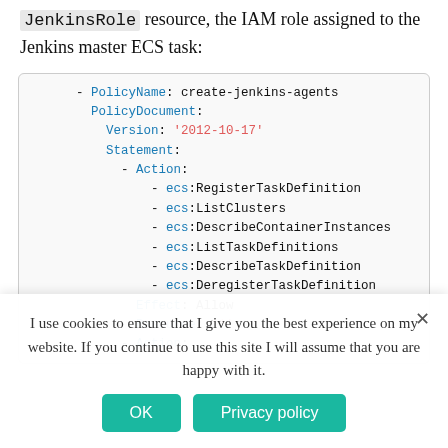JenkinsRole resource, the IAM role assigned to the Jenkins master ECS task:
[Figure (screenshot): Code block showing YAML policy configuration with PolicyName: create-jenkins-agents, PolicyDocument with Version '2012-10-17', Statement with Action list (ecs:RegisterTaskDefinition, ecs:ListClusters, ecs:DescribeContainerInstances, ecs:ListTaskDefinitions, ecs:DescribeTaskDefinition, ecs:DeregisterTaskDefinition), Effect: Allow, Resource: '*', and another Action:]
I use cookies to ensure that I give you the best experience on my website. If you continue to use this site I will assume that you are happy with it.